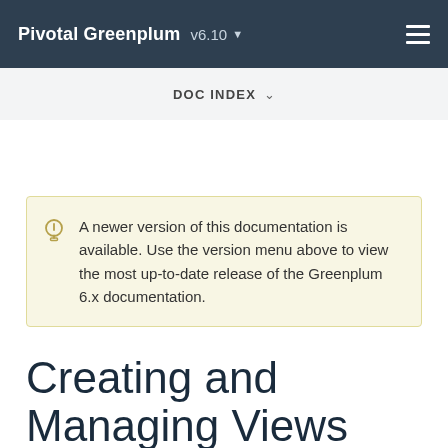Pivotal Greenplum v6.10
DOC INDEX
A newer version of this documentation is available. Use the version menu above to view the most up-to-date release of the Greenplum 6.x documentation.
Creating and Managing Views